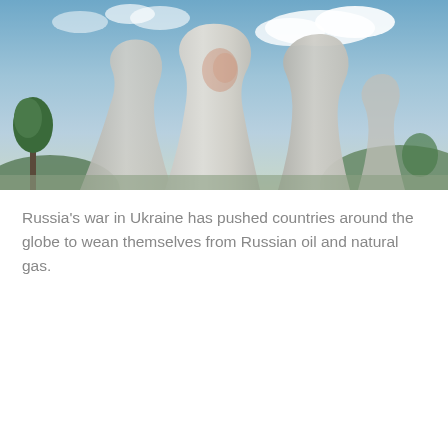[Figure (photo): Photograph of large industrial cooling towers (nuclear or coal power plant) against a partly cloudy sky, with green trees and hills in the background. The towers are white/grey concrete hyperbolic cooling towers.]
Environment
Russia dominates nuclear power supply chains — and the West needs to prepare now to be independent in the future
May 24, 2022
Russia's war in Ukraine has pushed countries around the globe to wean themselves from Russian oil and natural gas.